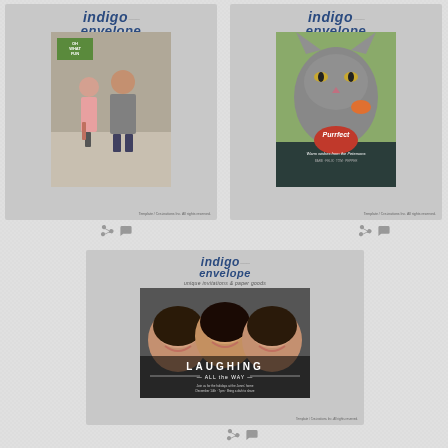[Figure (screenshot): Indigo Envelope branding card with couple photo and 'Oh What Fun' green banner]
[Figure (screenshot): Indigo Envelope branding card with cat photo and 'Purrfect' red badge overlay]
[Figure (screenshot): Indigo Envelope branding card with three laughing women photo and 'Laughing All Away' overlay]